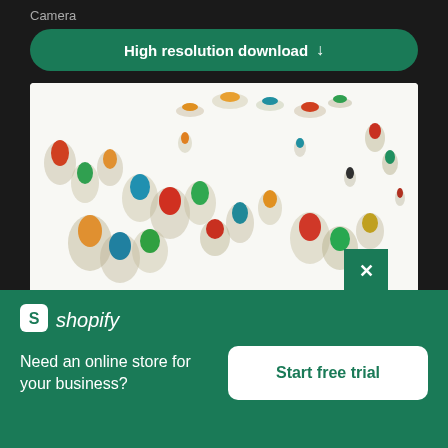Camera
High resolution download ↓
[Figure (photo): Aerial top-down view of colorful miniature figurines scattered on a bright white background, casting shadows. Figures appear to be small plastic toys in green, red, orange, yellow, and blue colors.]
× (close button)
[Figure (logo): Shopify logo — white shopping bag icon with 'S' followed by italic 'shopify' text in white]
Need an online store for your business?
Start free trial